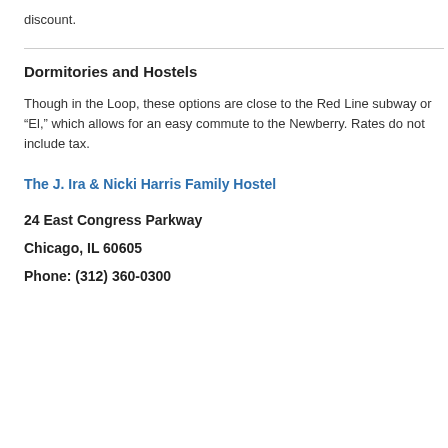discount.
Dormitories and Hostels
Though in the Loop, these options are close to the Red Line subway or “El,” which allows for an easy commute to the Newberry. Rates do not include tax.
The J. Ira & Nicki Harris Family Hostel
24 East Congress Parkway
Chicago, IL 60605
Phone: (312) 360-0300